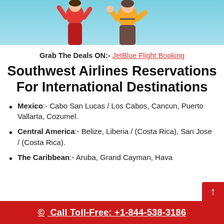[Figure (photo): Two people in a travel/vacation setting against a light blue/teal background, one wearing red and one wearing yellow, cropped at the top of the page.]
Grab The Deals ON:- JetBlue Flight Booking
Southwest Airlines Reservations For International Destinations
Mexico:- Cabo San Lucas / Los Cabos, Cancun, Puerto Vallarta, Cozumel.
Central America:- Belize, Liberia / (Costa Rica), San Jose / (Costa Rica).
The Caribbean:- Aruba, Grand Cayman, Hava...
© Call Toll-Free: +1-844-538-3186